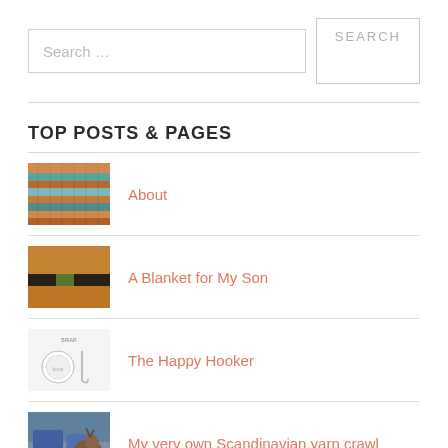Search …
SEARCH
TOP POSTS & PAGES
About
A Blanket for My Son
The Happy Hooker
My very own Scandinavian yarn crawl
A Made in China Giveaway